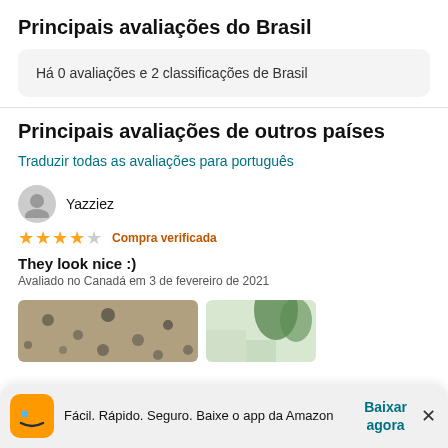Principais avaliações do Brasil
Há 0 avaliações e 2 classificações de Brasil
Principais avaliações de outros países
Traduzir todas as avaliações para português
Yazziez
★★★★☆ Compra verificada
They look nice :)
Avaliado no Canadá em 3 de fevereiro de 2021
[Figure (photo): Two product review images side by side, partially visible]
Fácil. Rápido. Seguro. Baixe o app da Amazon
Baixar agora